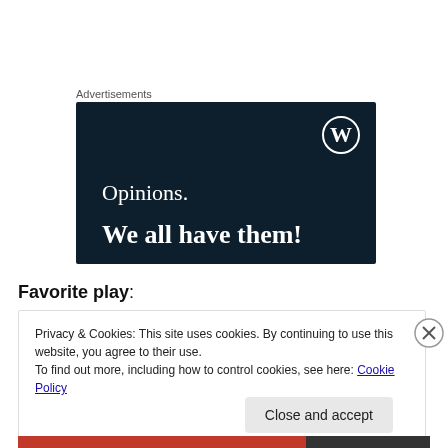Advertisements
[Figure (illustration): WordPress advertisement banner with dark navy background. Shows WordPress circular logo (W in a circle) in top right, text 'Opinions.' in white serif font, and 'We all have them!' in bold white serif font.]
Favorite play:
Privacy & Cookies: This site uses cookies. By continuing to use this website, you agree to their use.
To find out more, including how to control cookies, see here: Cookie Policy
Close and accept